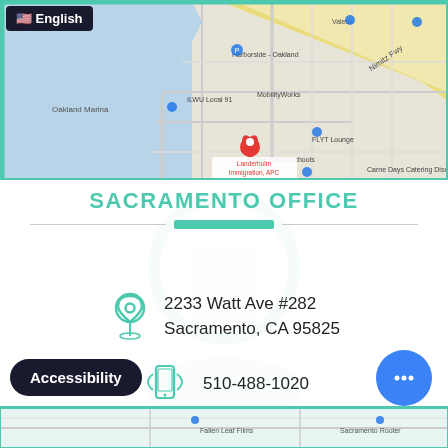[Figure (map): Google Maps screenshot showing location of Landerholm Immigration APC near Oakland, with a red pin marker, surrounding streets and landmarks including Harborside Oakland, ILWU Local 91, MobilityWorks, FLYT Lounge, Aspire Public Schools, Nimitz Freeway]
SACRAMENTO OFFICE
2233 Watt Ave #282
Sacramento, CA 95825
510-488-1020
ocl@landerholmimmigration.com
[Figure (map): Partial Google Maps screenshot showing Sacramento area with Fallen Leaf Films and Sacramento Rooter visible]